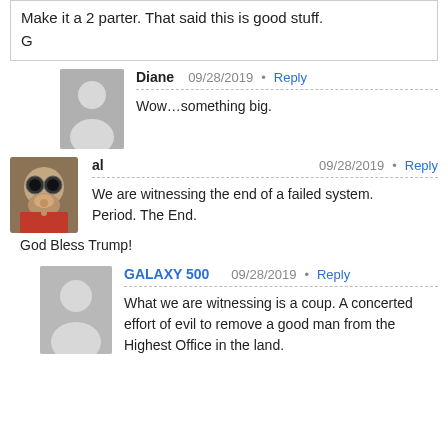Make it a 2 parter. That said this is good stuff.
G
Diane  09/28/2019 • Reply
Wow…something big.
al  09/28/2019 • Reply
We are witnessing the end of a failed system. Period. The End.
God Bless Trump!
GALAXY 500  09/28/2019 • Reply
What we are witnessing is a coup. A concerted effort of evil to remove a good man from the Highest Office in the land.